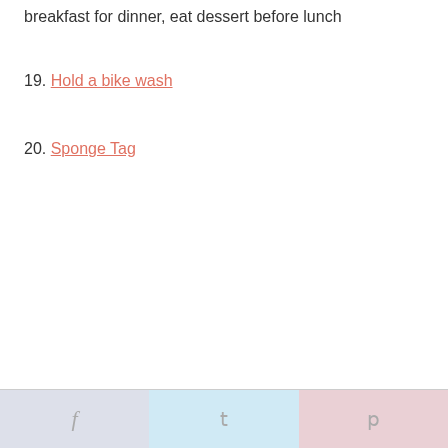breakfast for dinner, eat dessert before lunch
19. Hold a bike wash
20. Sponge Tag
f  t  p